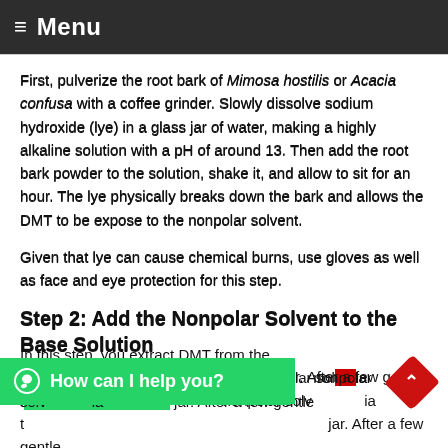Menu
First, pulverize the root bark of Mimosa hostilis or Acacia confusa with a coffee grinder. Slowly dissolve sodium hydroxide (lye) in a glass jar of water, making a highly alkaline solution with a pH of around 13. Then add the root bark powder to the solution, shake it, and allow to sit for an hour. The lye physically breaks down the bark and allows the DMT to be expose to the nonpolar solvent.
Given that lye can cause chemical burns, use gloves as well as face and eye protection for this step.
Step 2: Add the Nonpolar Solvent to the Base Solution
In this step, you extract DMT from the jar using a nonpolar solvent via the jar. After a few gentle swirls, the mixture will separate into polar (aqueous) and